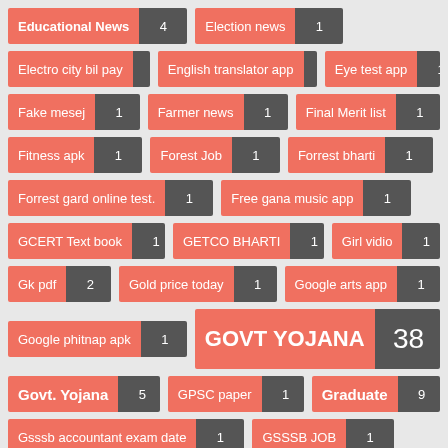[Figure (infographic): Tag cloud / word cloud with category labels and counts. Each tag is a colored pill with a label on the left (salmon/coral background) and a count on the right (dark grey background). Categories include: Educational News (4), Election news (1), Electro city bil pay (1), English translator app (1), Eye test app (1), Fake mesej (1), Farmer news (1), Final Merit list (1), Fitness apk (1), Forest Job (1), Forrest bharti (1), Forrest gard online test. (1), Free gana music app (1), GCERT Text book (1), GETCO BHARTI (1), Girl vidio (1), Gk pdf (2), Gold price today (1), Google arts app (1), Google phitnap apk (1), GOVT YOJANA (38), Govt. Yojana (5), GPSC paper (1), Graduate (9), Gsssb accountant exam date (1), GSSSB JOB (1).]